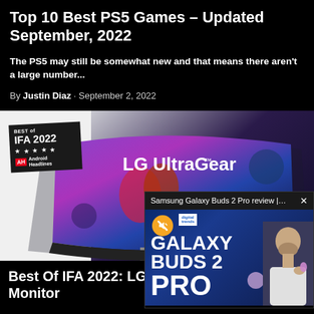Top 10 Best PS5 Games – Updated September, 2022
The PS5 may still be somewhat new and that means there aren't a large number...
By Justin Diaz · September 2, 2022
[Figure (photo): LG UltraGear curved gaming monitor with 'Best of IFA 2022' badge from Android Headlines, showing colorful gaming content on screen]
[Figure (screenshot): Floating video overlay popup for 'Samsung Galaxy Buds 2 Pro review | Gr...' with X close button, showing Galaxy Buds 2 Pro promotional graphic and a man holding the earbuds]
Best Of IFA 2022: LG Monitor